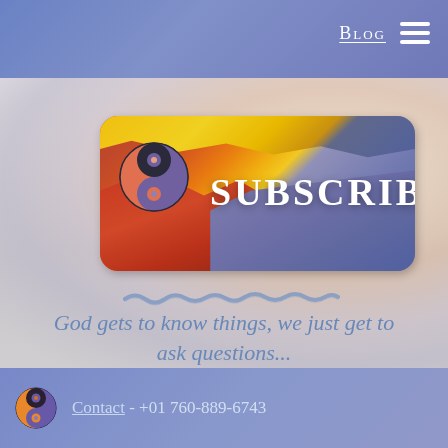Blog
[Figure (logo): Subscribe button with yin-yang logo on colorful painted background (red, yellow, purple/blue). Bold white text reads SUBSCRIBE.]
[Figure (illustration): Blue hand-drawn squiggly underline stroke]
God gets to know things, we just get to ask questions...
Contact - +01 760-889-6743